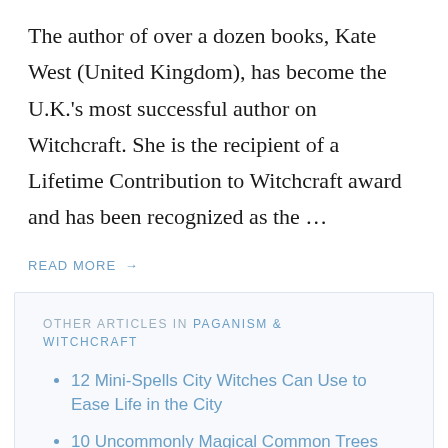The author of over a dozen books, Kate West (United Kingdom), has become the U.K.'s most successful author on Witchcraft. She is the recipient of a Lifetime Contribution to Witchcraft award and has been recognized as the …
READ MORE →
OTHER ARTICLES IN PAGANISM & WITCHCRAFT
12 Mini-Spells City Witches Can Use to Ease Life in the City
10 Uncommonly Magical Common Trees
Elemental Powers: Energy vs. Spirits